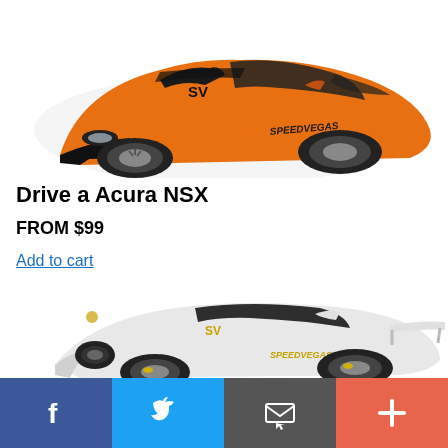[Figure (photo): Orange Acura NSX sports car with SpeedVegas branding, three-quarter front view on white background]
Drive a Acura NSX
FROM $99
Add to cart
[Figure (photo): White Porsche 911 GT3 race car with SpeedVegas branding, side view on white background]
[Figure (infographic): Social media sharing bar with Facebook, Twitter, email/share, and plus buttons]